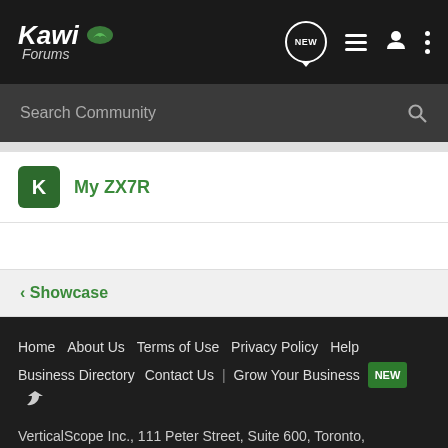Kawi Forums
Search Community
My ZX7R
< Showcase
Home
About Us
Terms of Use
Privacy Policy
Help
Business Directory
Contact Us
Grow Your Business
VerticalScope Inc., 111 Peter Street, Suite 600, Toronto, Ontario, M5V 2H1, Canada
The Fora platform includes forum software by XenForo